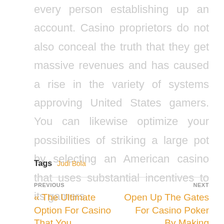every person establishing up an account. Casino proprietors do not also conceal the truth that they get massive revenues and has caused a rise in the variety of systems approving United States gamers. You can likewise optimize your possibilities of striking a large pot by selecting an American casino that uses substantial incentives to its gamers.
Tags  Judi Bola
PREVIOUS
« The Ultimate Option For Casino That You
NEXT
Open Up The Gates For Casino Poker By Making